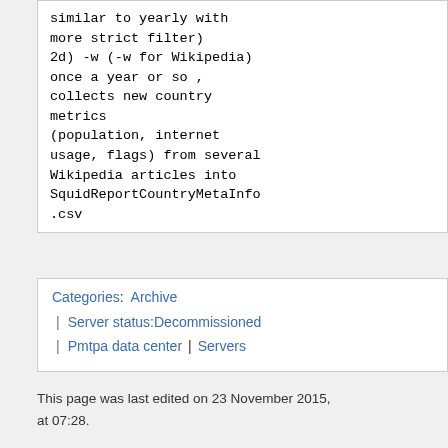similar to yearly with more strict filter)
2d) -w (-w for Wikipedia) once a year or so , collects new country metrics (population, internet usage, flags) from several Wikipedia articles into SquidReportCountryMetaInfo.csv
Categories: Archive | Server status:Decommissioned | Pmtpa data center | Servers
This page was last edited on 23 November 2015, at 07:28.
Content is available under Creative Commons Attribution Share Alike unless otherwise noted. By using Wikimedia Labs, you agree to the Labs